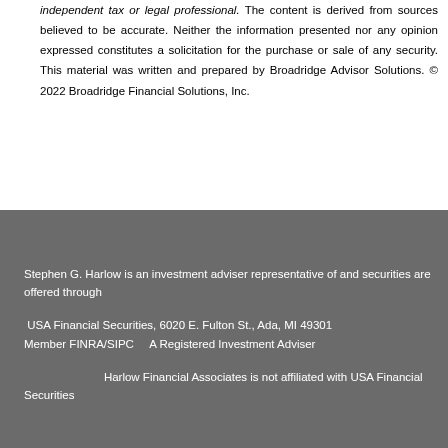independent tax or legal professional. The content is derived from sources believed to be accurate. Neither the information presented nor any opinion expressed constitutes a solicitation for the purchase or sale of any security. This material was written and prepared by Broadridge Advisor Solutions. © 2022 Broadridge Financial Solutions, Inc.
Stephen G. Harlow is an investment adviser representative of and securities are offered through

 USA Financial Securities, 6020 E. Fulton St., Ada, MI 49301
Member FINRA/SIPC      A Registered Investment Adviser

                        Harlow Financial Associates is not affiliated with USA Financial Securities